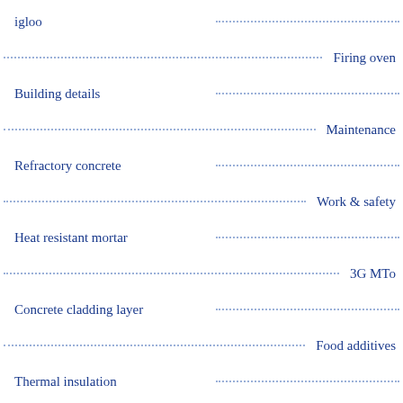igloo
Firing oven
Building details
Maintenance
Refractory concrete
Work & safety
Heat resistant mortar
3G MTo
Concrete cladding layer
Food additives
Thermal insulation
Healthy Papaya
Fire-bricks
L-lysine & food